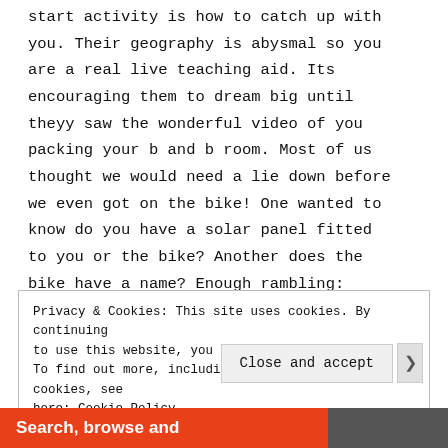start activity is how to catch up with you. Their geography is abysmal so you are a real live teaching aid. Its encouraging them to dream big until theyy saw the wonderful video of you packing your b and b room. Most of us thought we would need a lie down before we even got on the bike! One wanted to know do you have a solar panel fitted to you or the bike? Another does the bike have a name? Enough rambling:
Privacy & Cookies: This site uses cookies. By continuing to use this website, you agree to their use. To find out more, including how to control cookies, see here: Cookie Policy
Close and accept
Search, browse and